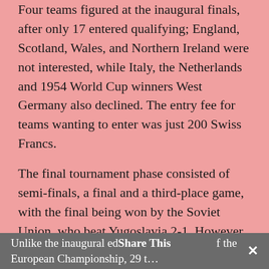Four teams figured at the inaugural finals, after only 17 entered qualifying; England, Scotland, Wales, and Northern Ireland were not interested, while Italy, the Netherlands and 1954 World Cup winners West Germany also declined. The entry fee for teams wanting to enter was just 200 Swiss Francs.
The final tournament phase consisted of semi-finals, a final and a third-place game, with the final being won by the Soviet Union, who beat Yugoslavia 2-1. However, despite the tournament still boasting the highest-scoring game in European Championship history, with Yugoslavia beating France 5-4, it failed to spark the interest of the rest of the world.
1964
Unlike the inaugural edition of the European Championship, 29 teams entered the qualifying...